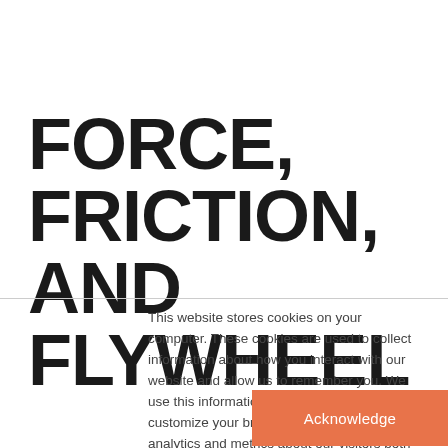FORCE, FRICTION, AND FLYWHEEL
This website stores cookies on your computer. These cookies are used to collect information about how you interact with our website and allow us to remember you. We use this information in order to improve and customize your browsing experience and for analytics and metrics about our visitors both on this website and other media. To find out more about the cookies we use, see our Privacy Policy.
Acknowledge